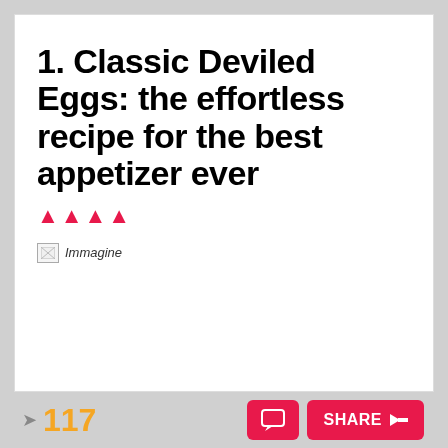1. Classic Deviled Eggs: the effortless recipe for the best appetizer ever
[Figure (illustration): Broken image placeholder labeled 'Immagine']
117  SHARE